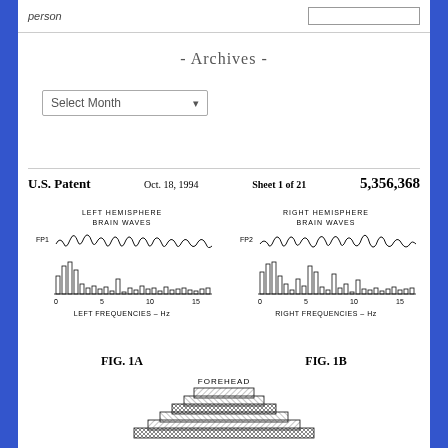person
- Archives -
Select Month
U.S. Patent    Oct. 18, 1994    Sheet 1 of 21    5,356,368
[Figure (continuous-plot): LEFT HEMISPHERE BRAIN WAVES - EEG waveform labeled FP1 on top, and frequency spectrum plot labeled LEFT FREQUENCIES - Hz with x-axis 0 to 15]
FIG. 1A
[Figure (continuous-plot): RIGHT HEMISPHERE BRAIN WAVES - EEG waveform labeled FP2 on top, and frequency spectrum plot labeled RIGHT FREQUENCIES - Hz with x-axis 0 to 15]
FIG. 1B
[Figure (engineering-diagram): FOREHEAD - Layered rectangular diagram showing electrode placement on forehead, viewed from above]
FOREHEAD